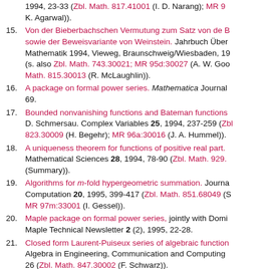1994, 23-33 (Zbl. Math. 817.41001 (I. D. Narang); MR 9 K. Agarwal)).
15. Von der Bieberbachschen Vermutung zum Satz von de B sowie der Beweisvariante von Weinstein. Jahrbuch Über Mathematik 1994, Vieweg, Braunschweig/Wiesbaden, 19 (s. also Zbl. Math. 743.30021; MR 95d:30027 (A. W. Goo Math. 815.30013 (R. McLaughlin)).
16. A package on formal power series. Mathematica Journal 69.
17. Bounded nonvanishing functions and Bateman functions D. Schmersau. Complex Variables 25, 1994, 237-259 (Zbl 823.30009 (H. Begehr); MR 96a:30016 (J. A. Hummel)).
18. A uniqueness theorem for functions of positive real part. Mathematical Sciences 28, 1994, 78-90 (Zbl. Math. 929. (Summary)).
19. Algorithms for m-fold hypergeometric summation. Journal Computation 20, 1995, 399-417 (Zbl. Math. 851.68049 (S MR 97m:33001 (I. Gessel)).
20. Maple package on formal power series, jointly with Domi Maple Technical Newsletter 2 (2), 1995, 22-28.
21. Closed form Laurent-Puiseux series of algebraic function Algebra in Engineering, Communication and Computing 26 (Zbl. Math. 847.30002 (F. Schwarz)).
22. Summation in Maple. Maple Technical Newsletter 3 (2), 1
23. On the de Branges Theorem, jointly with D. Schmersau.